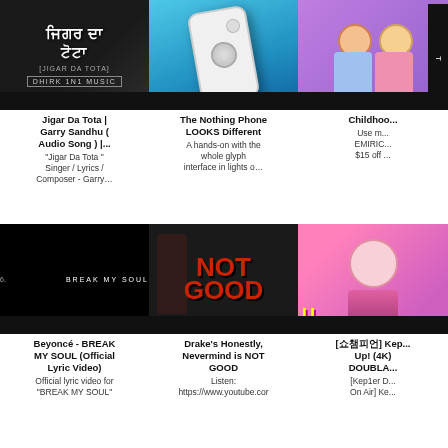[Figure (screenshot): YouTube thumbnail for Jigar Da Tota by Garry Sandhu - dark background with Punjabi script text]
Jigar Da Tota | Garry Sandhu ( Audio Song ) |...
"Jigar Da Tota " Singer / Lyrics / Composer - Garry…
[Figure (screenshot): YouTube thumbnail showing a white Nothing Phone being held against blue background]
The Nothing Phone LOOKS Different
A hands-on with the whole glyph interface in lights o…
[Figure (screenshot): YouTube thumbnail with anime-style illustrated characters on purple background]
Childhoo...
Use m... EMIRIC... $15 off ...
[Figure (screenshot): Vevo lyric video thumbnail for Beyonce BREAK MY SOUL - black background with white text]
Beyoncé - BREAK MY SOUL (Official Lyric Video)
Official lyric video for "BREAK MY SOUL"
[Figure (screenshot): YouTube thumbnail for Drake's Honestly Nevermind review - NOT GOOD text in red on dark background]
Drake's Honestly, Nevermind is NOT GOOD
Listen: https://www.youtube.cor
[Figure (screenshot): YouTube thumbnail for Kep1er performance video - kpop group on colorful stage]
[쇼챔피언] Kep... Up! (4K) DOUBLA...
[Kep1er D... On Air] Ke...